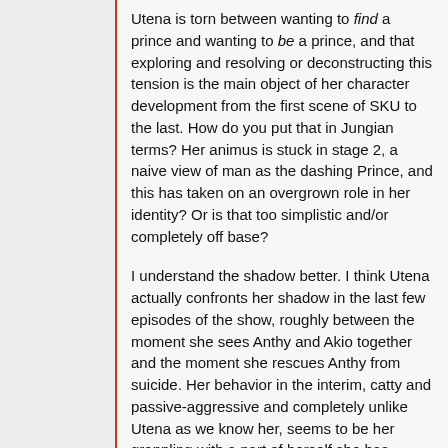Utena is torn between wanting to find a prince and wanting to be a prince, and that exploring and resolving or deconstructing this tension is the main object of her character development from the first scene of SKU to the last. How do you put that in Jungian terms? Her animus is stuck in stage 2, a naive view of man as the dashing Prince, and this has taken on an overgrown role in her identity? Or is that too simplistic and/or completely off base?
I understand the shadow better. I think Utena actually confronts her shadow in the last few episodes of the show, roughly between the moment she sees Anthy and Akio together and the moment she rescues Anthy from suicide. Her behavior in the interim, catty and passive-aggressive and completely unlike Utena as we know her, seems to be her grappling with a part of herself she has repressed and doesn't know how to cope with. She